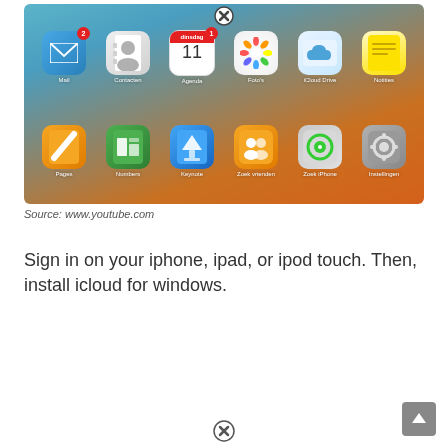[Figure (screenshot): iOS device screen showing app icons in a grid: Mail (badge 2), Contacts, Agenda (Calendar with date 11), Photos (with close/delete X button above), iCloud Drive, Notities (Notes), Herinneringen (Reminders) in top row; Pages, Numbers, Keynote, Zoek vrienden (Find Friends), Zoek iPhone (Find iPhone), Instellingen (Settings) in bottom row. Background is teal-to-orange gradient.]
Source: www.youtube.com
Sign in on your iphone, ipad, or ipod touch. Then, install icloud for windows.